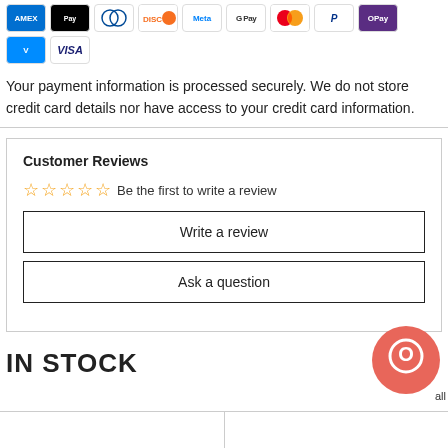[Figure (infographic): Payment method icons: Amex, Apple Pay, Diners, Discover, Meta, Google Pay, Mastercard, PayPal, OPay, Venmo, Visa]
Your payment information is processed securely. We do not store credit card details nor have access to your credit card information.
Customer Reviews
Be the first to write a review
Write a review
Ask a question
IN STOCK